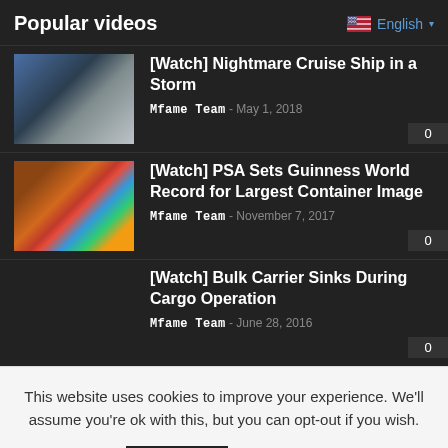Popular videos
English
[Figure (photo): Thumbnail of cruise ship in storm - dark blue and grey tones]
[Watch] Nightmare Cruise Ship in a Storm
Mfame Team - May 1, 2018
[Figure (photo): Thumbnail of PSA container with colorful world map image]
[Watch] PSA Sets Guinness World Record for Largest Container Image
Mfame Team - November 7, 2017
[Watch] Bulk Carrier Sinks During Cargo Operation
Mfame Team - June 28, 2016
This website uses cookies to improve your experience. We'll assume you're ok with this, but you can opt-out if you wish.
Accept
Read More